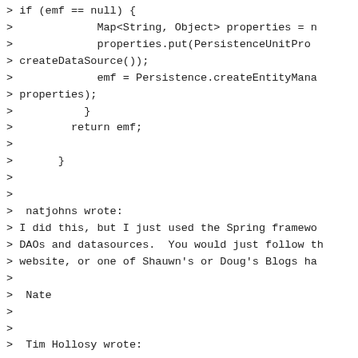> if (emf == null) {
>             Map<String, Object> properties = n
>             properties.put(PersistenceUnitPro
> createDataSource());
>             emf = Persistence.createEntityMana
> properties);
>           }
>         return emf;
>
>       }
>
>
>  natjohns wrote:
> I did this, but I just used the Spring framewo
> DAOs and datasources.  You would just follow th
> website, or one of Shauwn's or Doug's Blogs ha
>
>  Nate
>
>
>  Tim Hollosy wrote:
>
> I'm attempting to get EclipseLink to play nice
> (J2SE project),
>  and I'd like to have reuse an existing JDBC Da